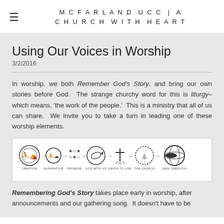MCFARLAND UCC | A CHURCH WITH HEART
Using Our Voices in Worship
3/2/2016
In worship, we both Remember God’s Story, and bring our own stories before God.  The strange churchy word for this is liturgy–which means, ‘the work of the people.’  This is a ministry that all of us can share.  We invite you to take a turn in leading one of these worship elements.
[Figure (illustration): Seven circular icons in sequence connected by arrows, labeled: CREATION, SEPARATION, PROMISE, GOD WITH US, DEATH TO LIFE, THE CHURCH, NEW CREATION]
Remembering God’s Story takes place early in worship, after announcements and our gathering song.  It doesn’t have to be